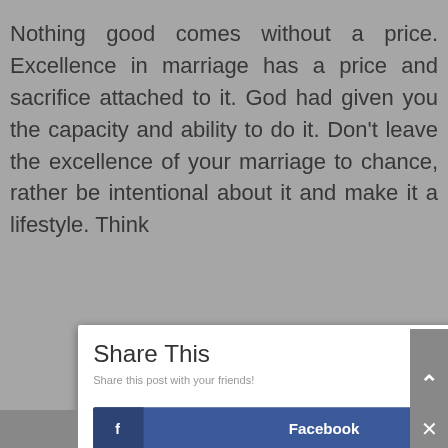Nothing good comes without a price. Excellence in marriage has a price and sacrifice attached to it. God had given you the capacity and ability to do it. Don't leave the excellence of your marriage to chance, rather be intentional about it and make it a lifestyle. Think
[Figure (screenshot): Share This modal dialog with social media share buttons: Facebook (dark blue), Twitter (light blue), Pinterest (red), LinkedIn (blue). Contains close X button, title 'Share This', subtitle 'Share this post with your friends!']